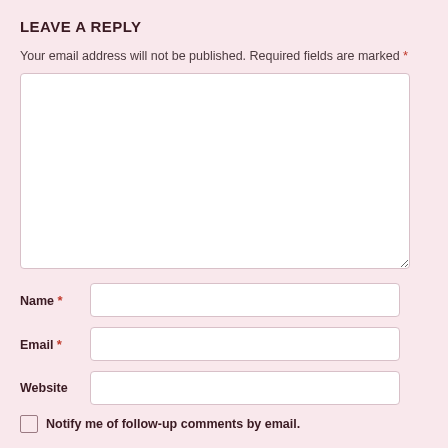LEAVE A REPLY
Your email address will not be published. Required fields are marked *
[Figure (other): Large comment text area input field, white background with light border]
Name *
Email *
Website
Notify me of follow-up comments by email.